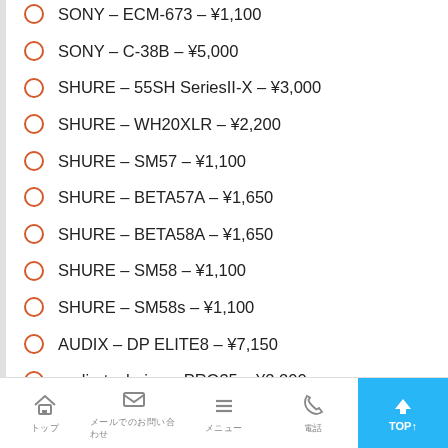SONY – ECM-673 – ¥1,100
SONY – C-38B – ¥5,000
SHURE – 55SH SeriesII-X – ¥3,000
SHURE – WH20XLR – ¥2,200
SHURE – SM57 – ¥1,100
SHURE – BETA57A – ¥1,650
SHURE – BETA58A – ¥1,650
SHURE – SM58 – ¥1,100
SHURE – SM58s – ¥1,100
AUDIX – DP ELITE8 – ¥7,150
audio-technica – PRO35 – ¥2,200
audio-technica – AT8538 – ¥2,200
audio-technica – AT2050 – ¥3,300
トップ　メールでのお問い合わせ　メニュー　電話　TOP↑